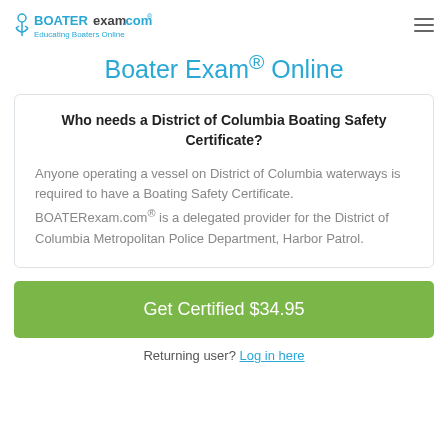BOATERexam.com — Educating Boaters Online
Boater Exam® Online
Who needs a District of Columbia Boating Safety Certificate?
Anyone operating a vessel on District of Columbia waterways is required to have a Boating Safety Certificate. BOATERexam.com® is a delegated provider for the District of Columbia Metropolitan Police Department, Harbor Patrol.
Get Certified $34.95
Returning user? Log in here